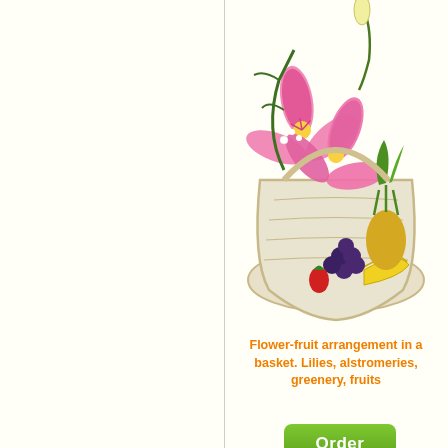[Figure (photo): A white wicker basket filled with pink lilies, alstromeries, greenery, and assorted fruits including pineapple, grapes, bananas, and other tropical fruits]
Flower-fruit arrangement in a basket. Lilies, alstromeries, greenery, fruits
[Figure (other): Green Order button]
from 3302 uah/93$/91€
[Figure (other): Grey rounded rectangle icon with a phone handset and upward arrow symbols]
Bouquet of yellow roses Sunny Roses
[Figure (photo): Partial view of a flower bouquet with green leaves at the bottom of the page]